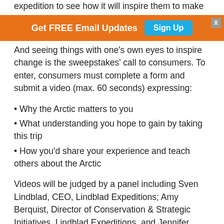expedition to see how it will inspire them to make change.
[Figure (infographic): Orange banner with text 'Get FREE Email Updates' and a teal 'Sign Up' button, with an X close button in the top right corner.]
And seeing things with one's own eyes to inspire change is the sweepstakes' call to consumers. To enter, consumers must complete a form and submit a video (max. 60 seconds) expressing:
• Why the Arctic matters to you
• What understanding you hope to gain by taking this trip
• How you'd share your experience and teach others about the Arctic
Videos will be judged by a panel including Sven Lindblad, CEO, Lindblad Expeditions; Amy Berquist, Director of Conservation & Strategic Initiatives, Lindblad Expeditions, and Jennifer Kingsley, National Geographic Explorer, journalist, and founder of Meet the North.
The winner of the most compelling video will be awarded an 11-day expedition for 2... plus round-trip economy airfar...